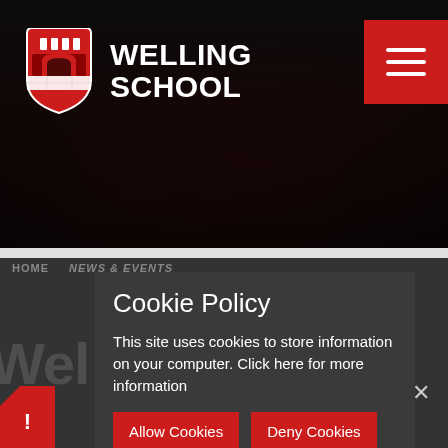[Figure (photo): Hero banner with dark crowd/school event background photo]
WELLING SCHOOL
HOME  NEWS & EVENTS
Cookie Policy
This site uses cookies to store information on your computer. Click here for more information
Allow Cookies   Deny Cookies